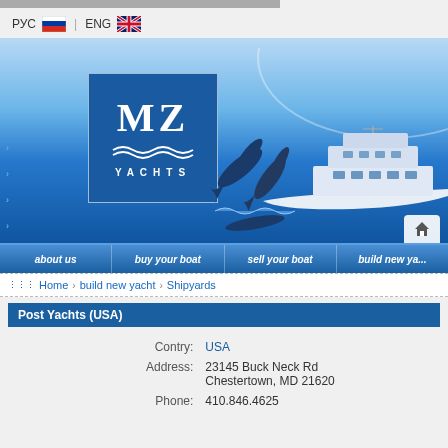[Figure (screenshot): Top gray loading bar]
РУС | ENG
[Figure (illustration): MZ Yachts website banner with MZ Yachts logo, dolphins jumping, and luxury yacht in blue ocean background]
about us | buy your boat | sell your boat | build new ya...
Home > build new yacht > Shipyards
Post Yachts (USA)
| Field | Value |
| --- | --- |
| Contry: | USA |
| Address: | 23145 Buck Neck Rd
Chestertown, MD 21620 |
| Phone: | 410.846.4625 |